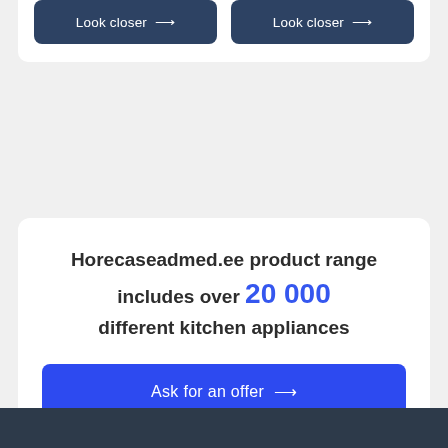Look closer →
Look closer →
Horecaseadmed.ee product range includes over 20 000 different kitchen appliances
Ask for an offer →